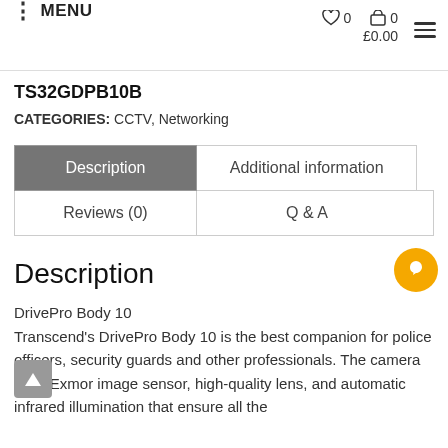MENU  ♡ 0  🛒 0  £0.00
TS32GDPB10B
CATEGORIES: CCTV, Networking
| Description | Additional information |
| --- | --- |
| Reviews (0) | Q & A |  |
Description
DrivePro Body 10
Transcend's DrivePro Body 10 is the best companion for police officers, security guards and other professionals. The camera uses Exmor image sensor, high-quality lens, and automatic infrared illumination that ensure all the